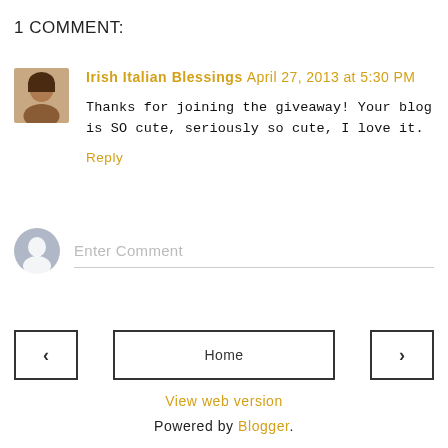1 COMMENT:
Irish Italian Blessings April 27, 2013 at 5:30 PM
Thanks for joining the giveaway! Your blog is SO cute, seriously so cute, I love it.
Reply
Enter Comment
< Home >
View web version
Powered by Blogger.